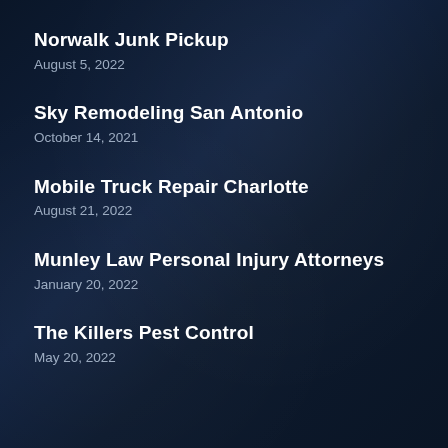Norwalk Junk Pickup
August 5, 2022
Sky Remodeling San Antonio
October 14, 2021
Mobile Truck Repair Charlotte
August 21, 2022
Munley Law Personal Injury Attorneys
January 20, 2022
The Killers Pest Control
May 20, 2022